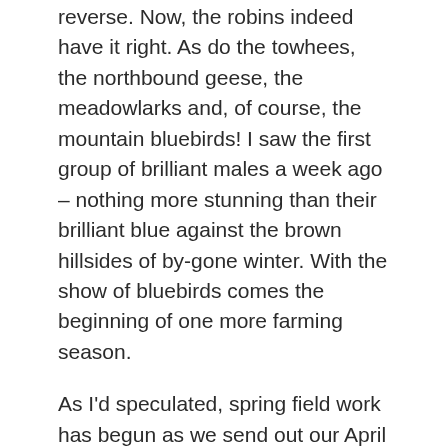reverse. Now, the robins indeed have it right. As do the towhees, the northbound geese, the meadowlarks and, of course, the mountain bluebirds! I saw the first group of brilliant males a week ago – nothing more stunning than their brilliant blue against the brown hillsides of by-gone winter. With the show of bluebirds comes the beginning of one more farming season.
As I'd speculated, spring field work has begun as we send out our April news…I mean, "blog." This means I've been out and taken a variety of soil plugs from all our fields and sent them to our soil folks so we can see whether we were naughty or nice the past growing season.
The grains that we've been milling has been very pleasing all winter long so I'm confident the crop was healthy. However, the goal is not to run out the goodies in one year's harvest.